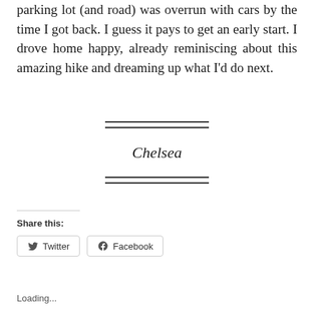parking lot (and road) was overrun with cars by the time I got back. I guess it pays to get an early start. I drove home happy, already reminiscing about this amazing hike and dreaming up what I'd do next.
Chelsea
Share this:
Twitter
Facebook
Loading...